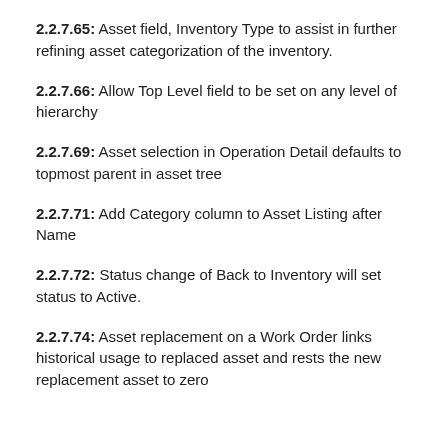2.2.7.65: Asset field, Inventory Type to assist in further refining asset categorization of the inventory.
2.2.7.66: Allow Top Level field to be set on any level of hierarchy
2.2.7.69: Asset selection in Operation Detail defaults to topmost parent in asset tree
2.2.7.71: Add Category column to Asset Listing after Name
2.2.7.72: Status change of Back to Inventory will set status to Active.
2.2.7.74: Asset replacement on a Work Order links historical usage to replaced asset and rests the new replacement asset to zero